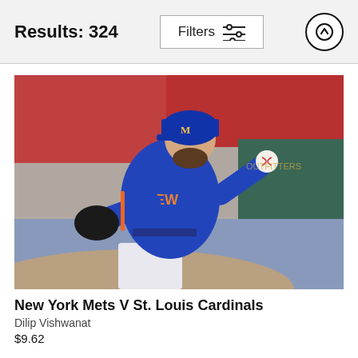Results: 324
Filters
[Figure (photo): New York Mets pitcher in blue uniform winding up to throw a baseball, stadium crowd in background]
New York Mets V St. Louis Cardinals
Dilip Vishwanat
$9.62